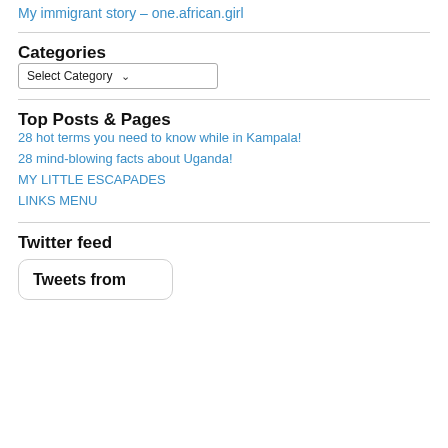My immigrant story – one.african.girl
Categories
Select Category
Top Posts & Pages
28 hot terms you need to know while in Kampala!
28 mind-blowing facts about Uganda!
MY LITTLE ESCAPADES
LINKS MENU
Twitter feed
Tweets from